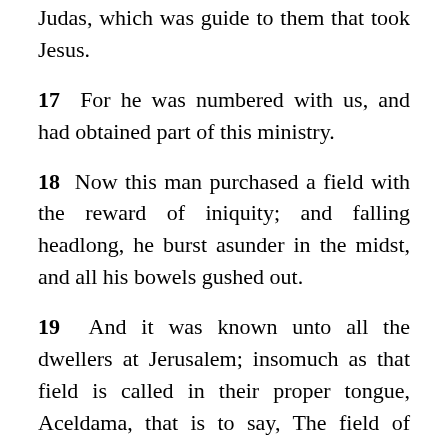Judas, which was guide to them that took Jesus.
17 For he was numbered with us, and had obtained part of this ministry.
18 Now this man purchased a field with the reward of iniquity; and falling headlong, he burst asunder in the midst, and all his bowels gushed out.
19 And it was known unto all the dwellers at Jerusalem; insomuch as that field is called in their proper tongue, Aceldama, that is to say, The field of blood.
20 For it is written in the book of Psalms, Let his habitation be desolate, and let no man dwell therein: and his bishoprick let another take.